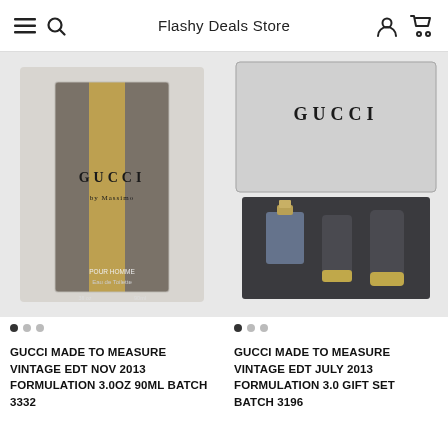Flashy Deals Store
[Figure (photo): Gucci Made to Measure cologne box, brown/grey with gold stripe, front view on white background]
GUCCI MADE TO MEASURE VINTAGE EDT NOV 2013 FORMULATION 3.0oz 90ml BATCH 3332
[Figure (photo): Gucci Made to Measure gift set in open silver box with small perfume bottle and two grey/gold tubes]
GUCCI MADE TO MEASURE VINTAGE EDT JULY 2013 FORMULATION 3.0 GIFT SET BATCH 3196